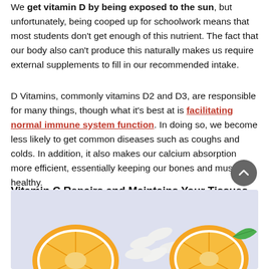We get vitamin D by being exposed to the sun, but unfortunately, being cooped up for schoolwork means that most students don't get enough of this nutrient. The fact that our body also can't produce this naturally makes us require external supplements to fill in our recommended intake.
D Vitamins, commonly vitamins D2 and D3, are responsible for many things, though what it's best at is facilitating normal immune system function. In doing so, we become less likely to get common diseases such as coughs and colds. In addition, it also makes our calcium absorption more efficient, essentially keeping our bones and muscles healthy.
Vitamin C Repairs and Maintains Your Tissues
[Figure (photo): Photo of orange slices and vitamin supplement pills with a green leaf on a light lavender/blue background]